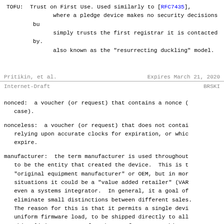TOFU:  Trust on First Use. Used similarly to [RFC7435], where a pledge device makes no security decisions but simply trusts the first registrar it is contacted by. also known as the "resurrecting duckling" model.
Pritikin, et al.          Expires March 21, 2020
Internet-Draft                          BRSKI
nonced:  a voucher (or request) that contains a nonce (case).
nonceless:  a voucher (or request) that does not contain relying upon accurate clocks for expiration, or which expire.
manufacturer:  the term manufacturer is used throughout to be the entity that created the device. This is t "original equipment manufacturer" or OEM, but in mor situations it could be a "value added retailer" (VAR even a systems integrator.  In general, it a goal of eliminate small distinctions between different sales. The reason for this is that it permits a single devi uniform firmware load, to be shipped directly to all This eliminates costs for the manufacturer.  This a